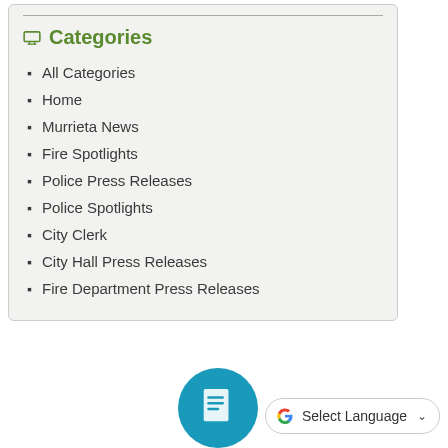Categories
All Categories
Home
Murrieta News
Fire Spotlights
Police Press Releases
Police Spotlights
City Clerk
City Hall Press Releases
Fire Department Press Releases
[Figure (other): Google Translate widget with G logo and 'Select Language' dropdown]
[Figure (other): Teal circle with document/notepad icon at bottom of page]